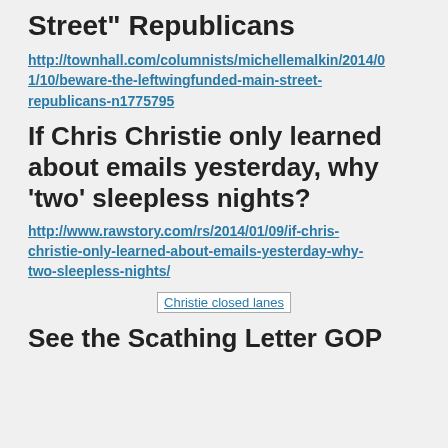Street” Republicans
http://townhall.com/columnists/michellemalkin/2014/01/10/beware-the-leftwingfunded-main-street-republicans-n1775795
If Chris Christie only learned about emails yesterday, why ‘two’ sleepless nights?
http://www.rawstory.com/rs/2014/01/09/if-chris-christie-only-learned-about-emails-yesterday-why-two-sleepless-nights/
[Figure (photo): Image placeholder with alt text: Christie closed lanes]
See the Scathing Letter GOP